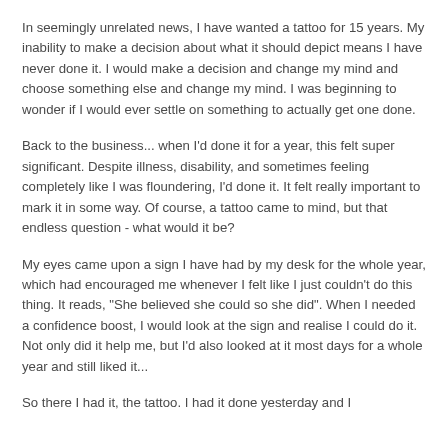In seemingly unrelated news, I have wanted a tattoo for 15 years. My inability to make a decision about what it should depict means I have never done it. I would make a decision and change my mind and choose something else and change my mind. I was beginning to wonder if I would ever settle on something to actually get one done.
Back to the business... when I'd done it for a year, this felt super significant. Despite illness, disability, and sometimes feeling completely like I was floundering, I'd done it. It felt really important to mark it in some way. Of course, a tattoo came to mind, but that endless question - what would it be?
My eyes came upon a sign I have had by my desk for the whole year, which had encouraged me whenever I felt like I just couldn't do this thing. It reads, "She believed she could so she did". When I needed a confidence boost, I would look at the sign and realise I could do it. Not only did it help me, but I'd also looked at it most days for a whole year and still liked it...
So there I had it, the tattoo. I had it done yesterday and I